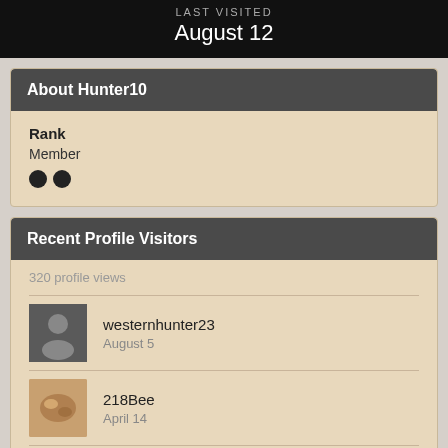LAST VISITED
August 12
About Hunter10
Rank
Member
Recent Profile Visitors
320 profile views
westernhunter23
August 5
218Bee
April 14
bowhunter-tw
March 11